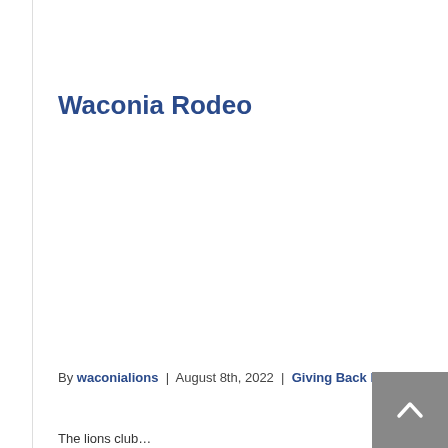Waconia Rodeo
By waconialions | August 8th, 2022 | Giving Back Programs
The lions club…